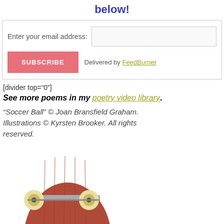below!
Enter your email address: [input box] SUBSCRIBE  Delivered by FeedBurner
[divider top="0"]
See more poems in my poetry video library.
"Soccer Ball" © Joan Bransfield Graham. Illustrations © Kyrsten Brooker. All rights reserved.
[Figure (photo): Bottom portion of a skateboard showing the deck underside (brick-red/brown color) with trucks and yellow wheels visible, partially cropped at the bottom of the page.]